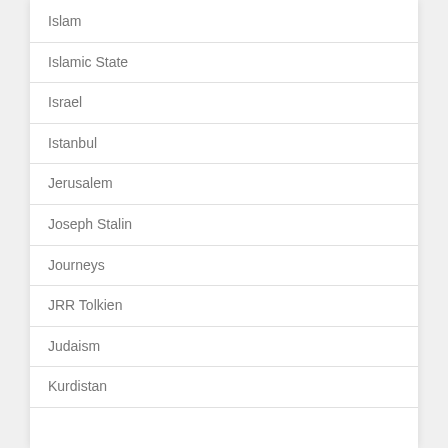Islam
Islamic State
Israel
Istanbul
Jerusalem
Joseph Stalin
Journeys
JRR Tolkien
Judaism
Kurdistan